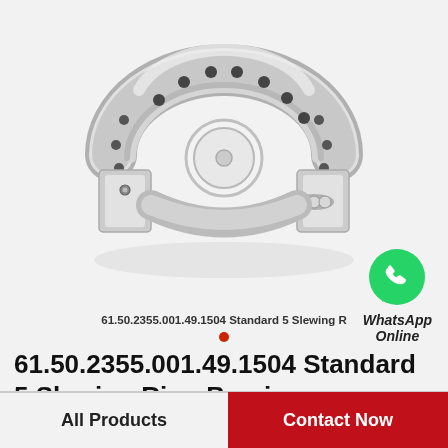[Figure (photo): A slewing ring bearing (circular, C-shaped cross-section cutaway view) in polished silver/chrome metal, showing ball bearings and mounting holes, on a light gray background.]
61.50.2355.001.49.1504 Standard 5 Slewing R
WhatsApp Online
61.50.2355.001.49.1504 Standard 5 Slewing Ring Bearings
All Products
Contact Now